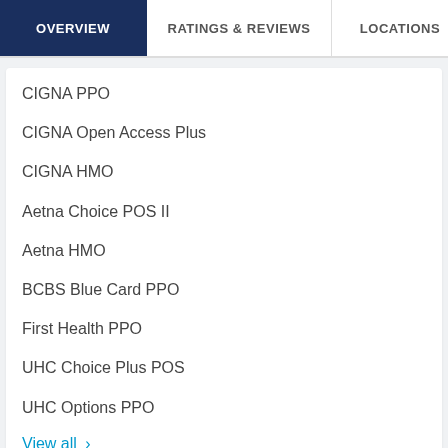OVERVIEW | RATINGS & REVIEWS | LOCATIONS | EX...
CIGNA PPO
CIGNA Open Access Plus
CIGNA HMO
Aetna Choice POS II
Aetna HMO
BCBS Blue Card PPO
First Health PPO
UHC Choice Plus POS
UHC Options PPO
View all >
[Figure (illustration): Pink hospital building icon]
HOSPITAL AFFILIATIONS